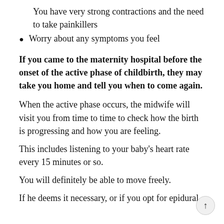You have very strong contractions and the need to take painkillers
Worry about any symptoms you feel
If you came to the maternity hospital before the onset of the active phase of childbirth, they may take you home and tell you when to come again.
When the active phase occurs, the midwife will visit you from time to time to check how the birth is progressing and how you are feeling.
This includes listening to your baby's heart rate every 15 minutes or so.
You will definitely be able to move freely.
If he deems it necessary, or if you opt for epidural